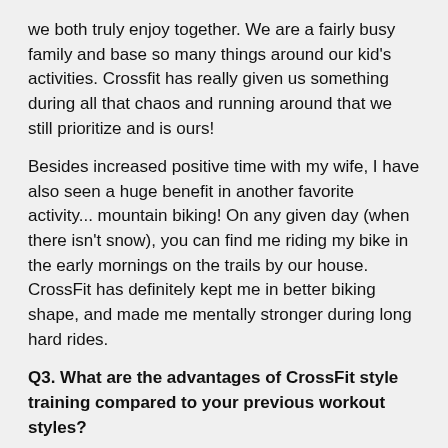we both truly enjoy together.  We are a fairly busy family and base so many things around our kid's activities. Crossfit has really given us something during all that chaos and running around that we still prioritize and is ours!
Besides increased positive time with my wife, I have also seen a huge benefit in another favorite activity... mountain biking! On any given day (when there isn't snow), you can find me riding my bike in the early mornings on the trails by our house.  CrossFit has definitely kept me in better biking shape, and made me mentally stronger during long hard rides.
Q3. What are the advantages of CrossFit style training compared to your previous workout styles?
Becky
Exercise has always been a chore for me. I did it because I had to, not because I wanted to, and I